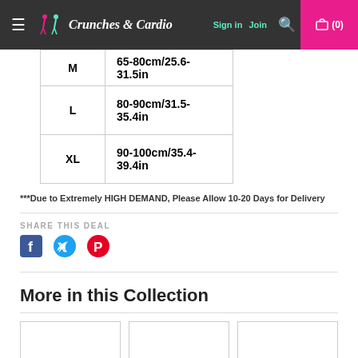Crunches & Cardio — navigation bar with Sign in, Join, Search, Cart (0)
| Size | Measurement |
| --- | --- |
| M | 65-80cm/25.6-31.5in |
| L | 80-90cm/31.5-35.4in |
| XL | 90-100cm/35.4-39.4in |
***Due to Extremely HIGH DEMAND, Please Allow 10-20 Days for Delivery
SHARE THIS DEAL
More in this Collection